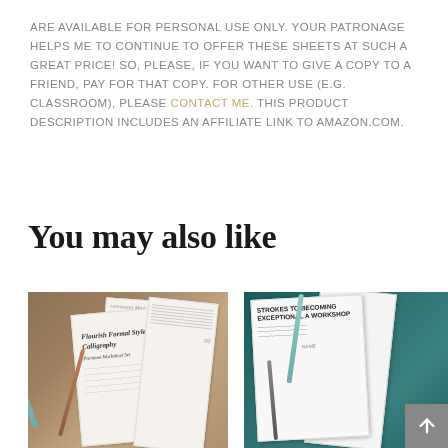ARE AVAILABLE FOR PERSONAL USE ONLY. YOUR PATRONAGE HELPS ME TO CONTINUE TO OFFER THESE SHEETS AT SUCH A GREAT PRICE! SO, PLEASE, IF YOU WANT TO GIVE A COPY TO A FRIEND, PAY FOR THAT COPY. FOR OTHER USE (E.G. CLASSROOM), PLEASE CONTACT ME. THIS PRODUCT DESCRIPTION INCLUDES AN AFFILIATE LINK TO AMAZON.COM.
You may also like
[Figure (photo): Photo of calligraphy practice sheets and worksheets spread out on a dark wooden surface with pens and pencils, showing 'Flourish Formal Style Calligraphy Premium Worksheet Set' cover page]
[Figure (photo): Photo of calligraphy practice sheets on a teal/dark green surface with pens, showing uppercase letter practice sheets with bold lettering]